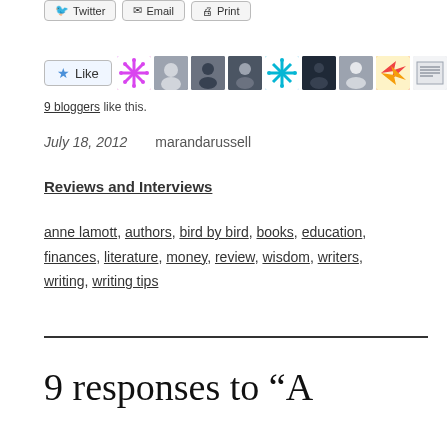[Figure (infographic): Social sharing buttons (Twitter, Email, Print) and a Like button with 9 blogger avatars]
9 bloggers like this.
July 18, 2012    marandarussell
Reviews and Interviews
anne lamott, authors, bird by bird, books, education, finances, literature, money, review, wisdom, writers, writing, writing tips
9 responses to “A